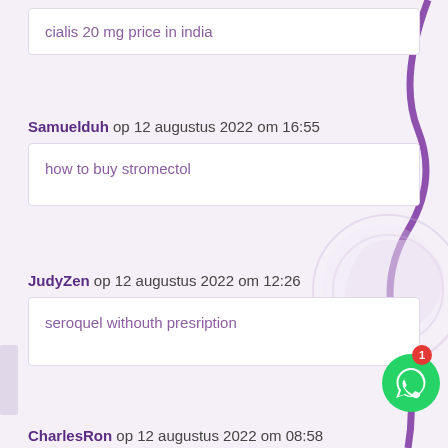cialis 20 mg price in india
Samuelduh op 12 augustus 2022 om 16:55
how to buy stromectol
JudyZen op 12 augustus 2022 om 12:26
seroquel withouth presription
CharlesRon op 12 augustus 2022 om 08:58